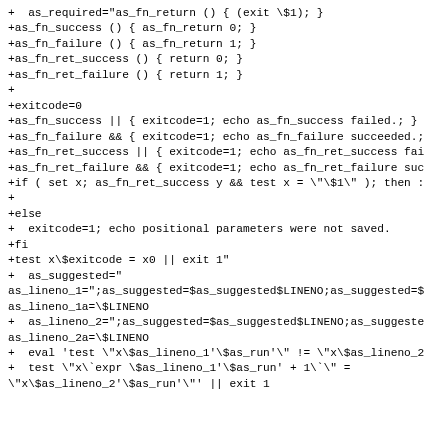+  as_required="as_fn_return () { (exit \$1); }
+as_fn_success () { as_fn_return 0; }
+as_fn_failure () { as_fn_return 1; }
+as_fn_ret_success () { return 0; }
+as_fn_ret_failure () { return 1; }
+
+exitcode=0
+as_fn_success || { exitcode=1; echo as_fn_success failed.; }
+as_fn_failure && { exitcode=1; echo as_fn_failure succeeded.;
+as_fn_ret_success || { exitcode=1; echo as_fn_ret_success fai
+as_fn_ret_failure && { exitcode=1; echo as_fn_ret_failure suc
+if ( set x; as_fn_ret_success y && test x = \"\$1\" ); then :
+
+else
+  exitcode=1; echo positional parameters were not saved.
+fi
+test x\$exitcode = x0 || exit 1"
+  as_suggested="
as_lineno_1=";as_suggested=$as_suggested$LINENO;as_suggested=$
as_lineno_1a=\$LINENO
+  as_lineno_2=";as_suggested=$as_suggested$LINENO;as_suggeste
as_lineno_2a=\$LINENO
+  eval 'test \"x\$as_lineno_1'\$as_run'\" != \"x\$as_lineno_2
+  test \"x\`expr \$as_lineno_1'\$as_run' + 1\`\" =
\"x\$as_lineno_2'\$as_run'\"' || exit 1